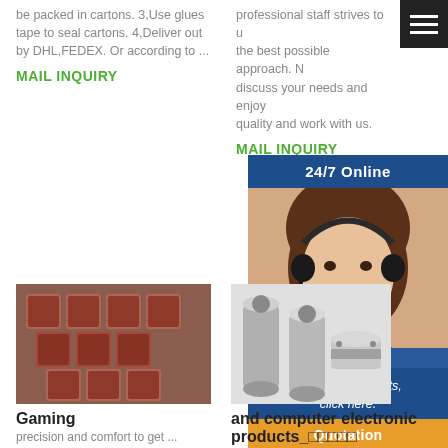be packed in cartons. 3,Use glues tape to seal cartons. 4,Deliver out by DHL,FEDEX. Or according to ...
professional staff strives to use the best possible approach. No discuss your needs and enjoy quality and work with us.
MAIL INQUIRY
MAIL INQUIRY
[Figure (screenshot): Navigation hamburger menu icon, dark background, top right corner]
24/7 Online
[Figure (photo): Woman with headset smiling, customer service agent photo]
Have any requests, click here.
Quotation
[Figure (photo): Stack of pink/red square metal tubes or profiles]
[Figure (photo): Silver aluminum extrusion profiles]
Gaming
and computer electronic products_□□□□□
precision and comfort to get ...